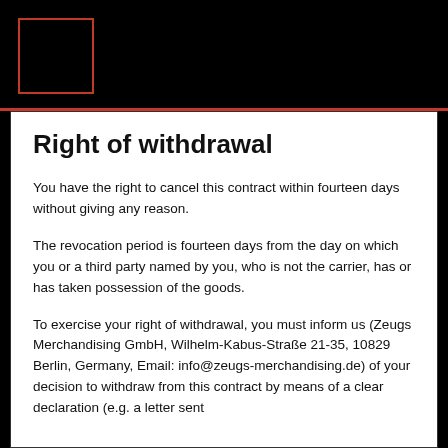[Figure (logo): Red outlined square logo box on black header background]
Right of withdrawal
You have the right to cancel this contract within fourteen days without giving any reason.
The revocation period is fourteen days from the day on which you or a third party named by you, who is not the carrier, has or has taken possession of the goods.
To exercise your right of withdrawal, you must inform us (Zeugs Merchandising GmbH, Wilhelm-Kabus-Straße 21-35, 10829 Berlin, Germany, Email: info@zeugs-merchandising.de) of your decision to withdraw from this contract by means of a clear declaration (e.g. a letter sent